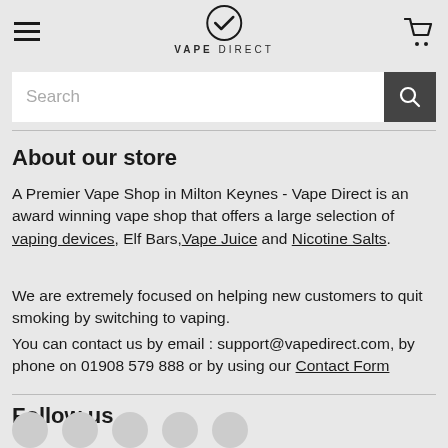VAPE DIRECT (navigation header with hamburger menu and cart icon)
About our store
A Premier Vape Shop in Milton Keynes - Vape Direct is an award winning vape shop that offers a large selection of vaping devices, Elf Bars, Vape Juice and Nicotine Salts.
We are extremely focused on helping new customers to quit smoking by switching to vaping.
You can contact us by email : support@vapedirect.com, by phone on 01908 579 888 or by using our Contact Form
Follow us